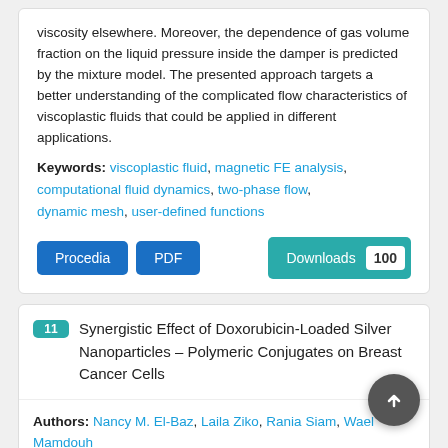viscosity elsewhere. Moreover, the dependence of gas volume fraction on the liquid pressure inside the damper is predicted by the mixture model. The presented approach targets a better understanding of the complicated flow characteristics of viscoplastic fluids that could be applied in different applications.
Keywords: viscoplastic fluid, magnetic FE analysis, computational fluid dynamics, two-phase flow, dynamic mesh, user-defined functions
Procedia  PDF  Downloads 100
11 Synergistic Effect of Doxorubicin-Loaded Silver Nanoparticles – Polymeric Conjugates on Breast Cancer Cells
Authors: Nancy M. El-Baz, Laila Ziko, Rania Siam, Wael Mamdouh